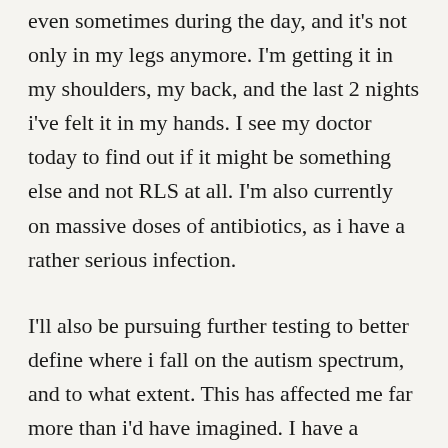even sometimes during the day, and it's not only in my legs anymore. I'm getting it in my shoulders, my back, and the last 2 nights i've felt it in my hands. I see my doctor today to find out if it might be something else and not RLS at all. I'm also currently on massive doses of antibiotics, as i have a rather serious infection.
I'll also be pursuing further testing to better define where i fall on the autism spectrum, and to what extent. This has affected me far more than i'd have imagined. I have a number of friends whose children are autistic, i have friends who're themselves on the spectrum. I have a well-informed and modern opinion on autism. I don't think of the